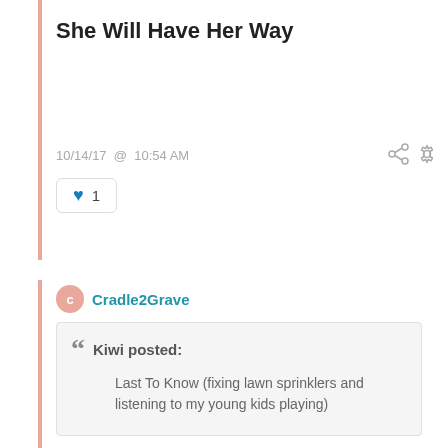She Will Have Her Way
10/14/17  @  10:54 AM
❤ 1
Cradle2Grave
Kiwi posted:
Last To Know (fixing lawn sprinklers and listening to my young kids playing)